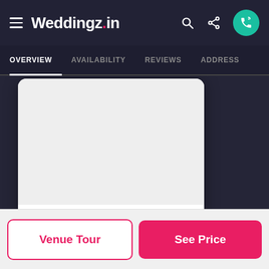Weddingz.in
OVERVIEW  AVAILABILITY  REVIEWS  ADDRESS
Bird Valley
Bird Valley, Near Crown Bakery, C...
Starting from ₹500/Plate
Venue Tour
See Price